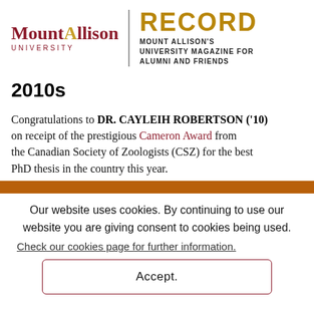Mount Allison University | RECORD — MOUNT ALLISON'S UNIVERSITY MAGAZINE FOR ALUMNI AND FRIENDS
2010s
Congratulations to DR. CAYLEIH ROBERTSON ('10) on receipt of the prestigious Cameron Award from the Canadian Society of Zoologists (CSZ) for the best PhD thesis in the country this year.
Our website uses cookies. By continuing to use our website you are giving consent to cookies being used. Check our cookies page for further information.
Accept.